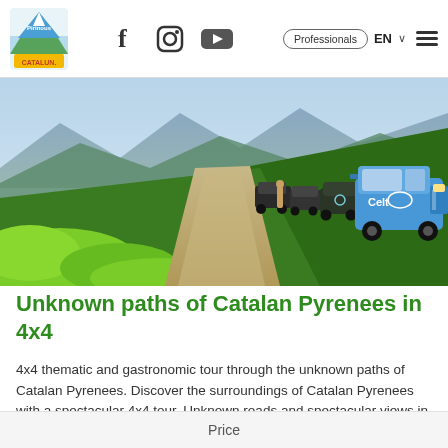Pirinous | f | Instagram | YouTube | Professionals | EN | Menu
[Figure (photo): A convoy of 4x4 off-road vehicles parked along a dirt mountain trail surrounded by green vegetation and mountain landscape in the Catalan Pyrenees]
Unknown paths of Catalan Pyrenees in 4x4
4x4 thematic and gastronomic tour through the unknown paths of Catalan Pyrenees. Discover the surroundings of Catalan Pyrenees with a spectacular 4x4 tour. Unknown roads and spectacular views in an
... més info
Price